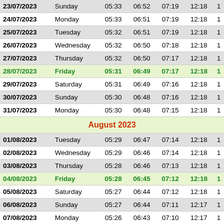| Date | Day | Col3 | Col4 | Col5 | Col6 | Col7 |
| --- | --- | --- | --- | --- | --- | --- |
| 23/07/2023 | Sunday | 05:33 | 06:52 | 07:19 | 12:18 | 1 |
| 24/07/2023 | Monday | 05:33 | 06:51 | 07:19 | 12:18 | 1 |
| 25/07/2023 | Tuesday | 05:32 | 06:51 | 07:19 | 12:18 | 1 |
| 26/07/2023 | Wednesday | 05:32 | 06:50 | 07:18 | 12:18 | 1 |
| 27/07/2023 | Thursday | 05:32 | 06:50 | 07:17 | 12:18 | 1 |
| 28/07/2023 | Friday | 05:31 | 06:49 | 07:17 | 12:18 | 1 |
| 29/07/2023 | Saturday | 05:31 | 06:49 | 07:16 | 12:18 | 1 |
| 30/07/2023 | Sunday | 05:30 | 06:48 | 07:16 | 12:18 | 1 |
| 31/07/2023 | Monday | 05:30 | 06:48 | 07:15 | 12:18 | 1 |
| August 2023 |  |  |  |  |  |  |
| 01/08/2023 | Tuesday | 05:29 | 06:47 | 07:14 | 12:18 | 1 |
| 02/08/2023 | Wednesday | 05:29 | 06:46 | 07:14 | 12:18 | 1 |
| 03/08/2023 | Thursday | 05:28 | 06:46 | 07:13 | 12:18 | 1 |
| 04/08/2023 | Friday | 05:28 | 06:45 | 07:12 | 12:18 | 1 |
| 05/08/2023 | Saturday | 05:27 | 06:44 | 07:12 | 12:18 | 1 |
| 06/08/2023 | Sunday | 05:27 | 06:44 | 07:11 | 12:17 | 1 |
| 07/08/2023 | Monday | 05:26 | 06:43 | 07:10 | 12:17 | 1 |
| 08/08/2023 | Tuesday | 05:25 | 06:42 | 07:09 | 12:17 | 1 |